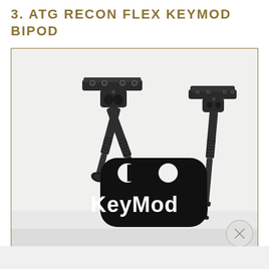3. ATG RECON FLEX KEYMOD BIPOD
[Figure (photo): Product photo of ATG Recon Flex KeyMod Bipod showing two bipod units from different angles (folded and deployed), with a prominent black KeyMod logo/badge in the center foreground.]